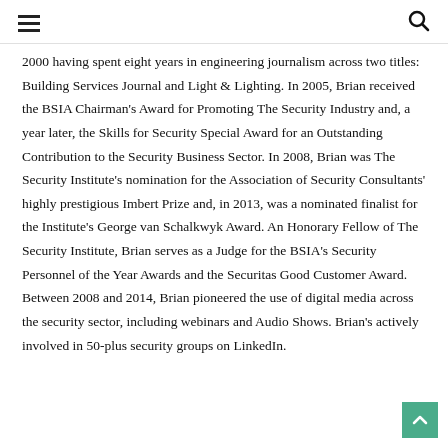≡ 🔍
2000 having spent eight years in engineering journalism across two titles: Building Services Journal and Light & Lighting. In 2005, Brian received the BSIA Chairman's Award for Promoting The Security Industry and, a year later, the Skills for Security Special Award for an Outstanding Contribution to the Security Business Sector. In 2008, Brian was The Security Institute's nomination for the Association of Security Consultants' highly prestigious Imbert Prize and, in 2013, was a nominated finalist for the Institute's George van Schalkwyk Award. An Honorary Fellow of The Security Institute, Brian serves as a Judge for the BSIA's Security Personnel of the Year Awards and the Securitas Good Customer Award. Between 2008 and 2014, Brian pioneered the use of digital media across the security sector, including webinars and Audio Shows. Brian's actively involved in 50-plus security groups on LinkedIn.